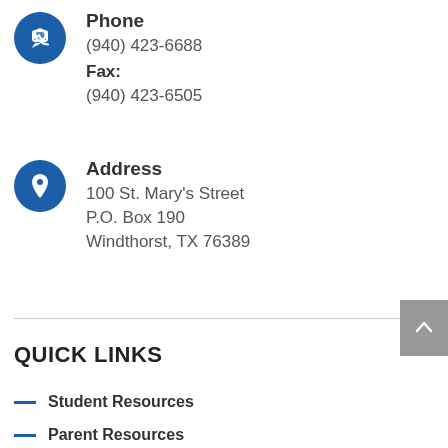[Figure (illustration): Blue circular icon with white chat/phone symbol]
Phone
(940) 423-6688
Fax:
(940) 423-6505
[Figure (illustration): Blue circular icon with white map pin/location symbol]
Address
100 St. Mary's Street
P.O. Box 190
Windthorst, TX 76389
QUICK LINKS
Student Resources
Parent Resources